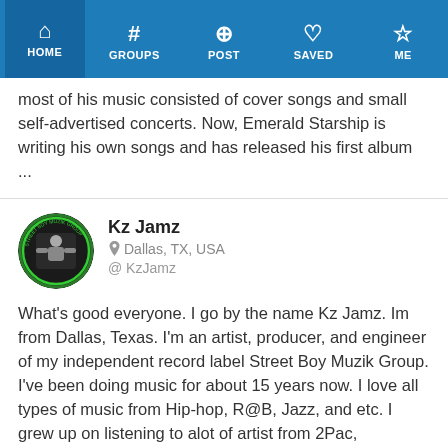HOME | GROUPS | POST | SAVED | ME
most of his music consisted of cover songs and small self-advertised concerts. Now, Emerald Starship is writing his own songs and has released his first album ...
Kz Jamz
Dallas, TX, USA
@ KzJamz
What's good everyone. I go by the name Kz Jamz. Im from Dallas, Texas. I'm an artist, producer, and engineer of my independent record label Street Boy Muzik Group. I've been doing music for about 15 years now. I love all types of music from Hip-hop, R@B, Jazz, and etc. I grew up on listening to alot of artist from 2Pac, Scarface, UGK, Michael Jackson to the Isley Brothers and many more. But my heart and soul is definitely doing great music for the fans.